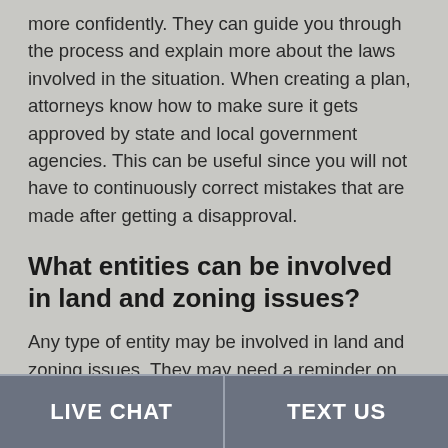more confidently. They can guide you through the process and explain more about the laws involved in the situation. When creating a plan, attorneys know how to make sure it gets approved by state and local government agencies. This can be useful since you will not have to continuously correct mistakes that are made after getting a disapproval.
What entities can be involved in land and zoning issues?
Any type of entity may be involved in land and zoning issues. They may need a reminder on the land and zoning laws in that town. These clients can include
LIVE CHAT   TEXT US